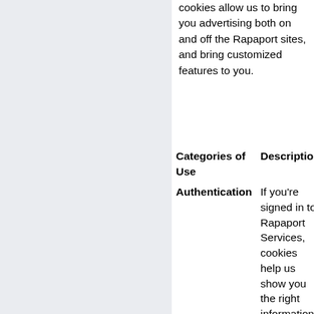cookies allow us to bring you advertising both on and off the Rapaport sites, and bring customized features to you.
| Categories of Use | Description |
| --- | --- |
| Authentication | If you're signed in to Rapaport Services, cookies help us show you the right information and personalize your experience. |